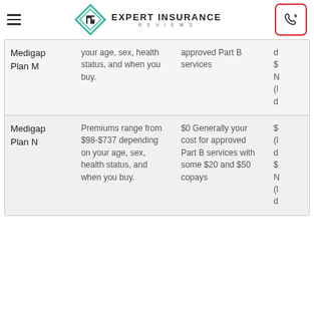Expert Insurance Reviews
| Plan | Premium | Part B Coverage | Other |
| --- | --- | --- | --- |
| Medigap Plan M | ...your age, sex, health status, and when you buy. | approved Part B services | d $ N (l d |
| Medigap Plan N | Premiums range from $98-$737 depending on your age, sex, health status, and when you buy. | $0 Generally your cost for approved Part B services with some $20 and $50 copays | $ (l d $ N (l d |